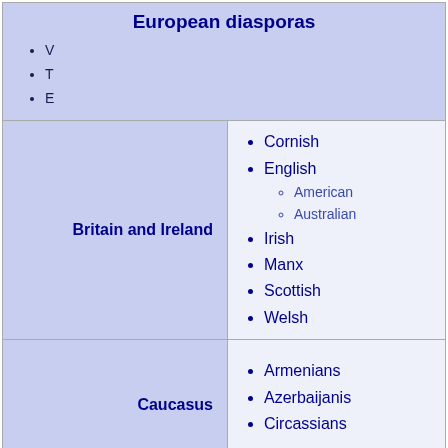European diasporas
V
T
E
| Region | Diasporas |
| --- | --- |
| Britain and Ireland | Cornish, English, American (sub), Australian (sub), Irish, Manx, Scottish, Welsh |
| Caucasus | Armenians, Azerbaijanis, Circassians |